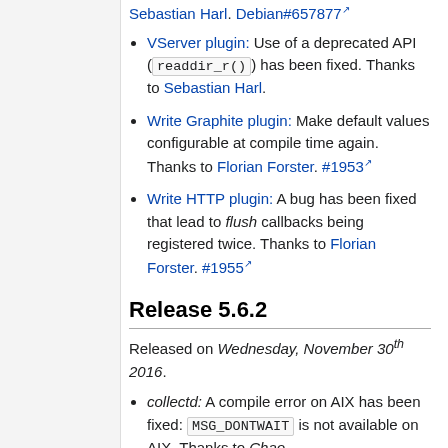VServer plugin: Use of a deprecated API (readdir_r()) has been fixed. Thanks to Sebastian Harl.
Write Graphite plugin: Make default values configurable at compile time again. Thanks to Florian Forster. #1953
Write HTTP plugin: A bug has been fixed that lead to flush callbacks being registered twice. Thanks to Florian Forster. #1955
Release 5.6.2
Released on Wednesday, November 30th 2016.
collectd: A compile error on AIX has been fixed: MSG_DONTWAIT is not available on AIX. Thanks to Chao